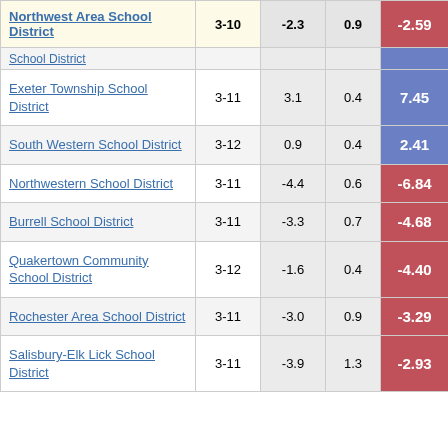| School District | Grades | Col3 | Col4 | Score |
| --- | --- | --- | --- | --- |
| Northwest Area School District | 3-10 | -2.3 | 0.9 | -2.59 |
| School District (partial) |  |  |  |  |
| Exeter Township School District | 3-11 | 3.1 | 0.4 | 7.45 |
| South Western School District | 3-12 | 0.9 | 0.4 | 2.41 |
| Northwestern School District | 3-11 | -4.4 | 0.6 | -6.84 |
| Burrell School District | 3-11 | -3.3 | 0.7 | -4.68 |
| Quakertown Community School District | 3-12 | -1.6 | 0.4 | -4.40 |
| Rochester Area School District | 3-11 | -3.0 | 0.9 | -3.29 |
| Salisbury-Elk Lick School District | 3-11 | -3.9 | 1.3 | -2.93 |